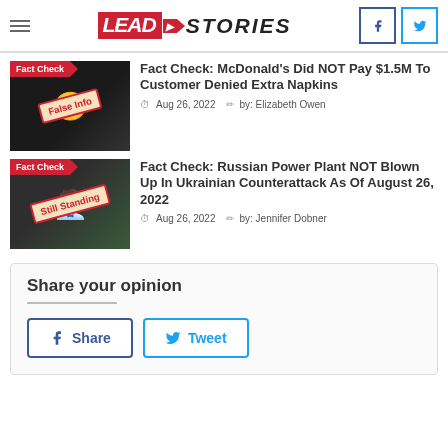Lead Stories
[Figure (screenshot): Thumbnail image for McDonald's napkins fact check article with 'False Info' badge]
Fact Check: McDonald's Did NOT Pay $1.5M To Customer Denied Extra Napkins
Aug 26, 2022   by: Elizabeth Owen
[Figure (screenshot): Thumbnail image of a man (Putin) with 'Still Standing' badge for Russian Power Plant fact check article]
Fact Check: Russian Power Plant NOT Blown Up In Ukrainian Counterattack As Of August 26, 2022
Aug 26, 2022   by: Jennifer Dobner
Share your opinion
Share   Tweet